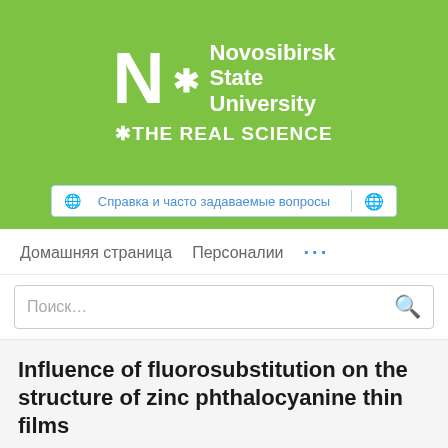[Figure (logo): Novosibirsk State University logo with green background, white N letter, asterisk, text Novosibirsk State University and *THE REAL SCIENCE]
Справка и часто задаваемые вопросы
Домашняя страница   Персоналии   ...
Поиск...
Influence of fluorosubstitution on the structure of zinc phthalocyanine thin films
Darya D. Klyamer, Aleksandr S. Sukhikh, Sergey A. Gromilov, Vladimir N. Kruchinin, Evgeniy V. Spesivtsev, Aseel K. Hassan, Tamara V. Basova